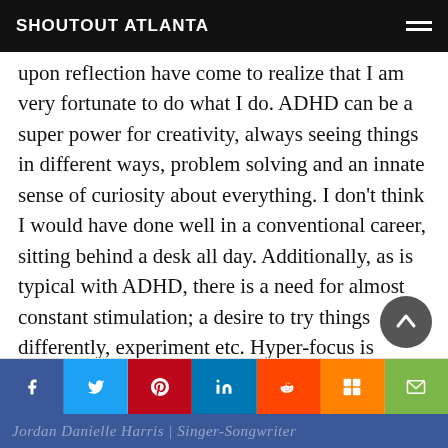SHOUTOUT ATLANTA
upon reflection have come to realize that I am very fortunate to do what I do. ADHD can be a super power for creativity, always seeing things in different ways, problem solving and an innate sense of curiosity about everything. I don't think I would have done well in a conventional career, sitting behind a desk all day. Additionally, as is typical with ADHD, there is a need for almost constant stimulation; a desire to try things differently, experiment etc. Hyper-focus is another plus of the condition, the ability to really deep dive into something and see its creative potential. Read more>>
Jordan Danielle Harris | Singer-Songwriter